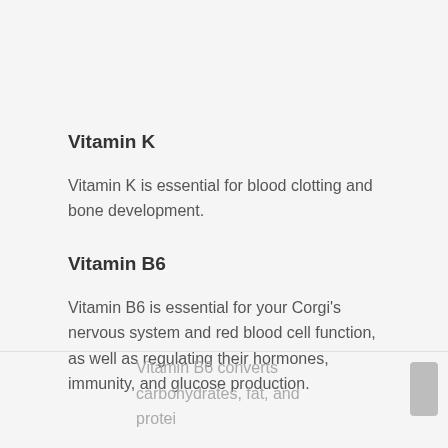Vitamin K
Vitamin K is essential for blood clotting and bone development.
Vitamin B6
Vitamin B6 is essential for your Corgi’s nervous system and red blood cell function, as well as regulating their hormones, immunity, and glucose production.
Vitamin B6 converts carbohydrates, fat, and protei…